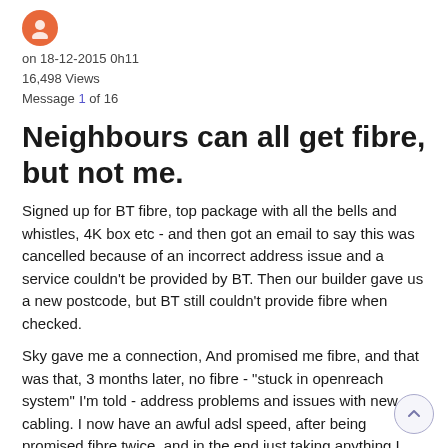[Figure (illustration): Orange circular avatar icon at top left]
on 18-12-2015 0h11
16,498 Views
Message 1 of 16
Neighbours can all get fibre, but not me.
Signed up for BT fibre, top package with all the bells and whistles, 4K box etc - and then got an email to say this was cancelled because of an incorrect address issue and a service couldn't be provided by BT. Then our builder gave us a new postcode, but BT still couldn't provide fibre when checked.
Sky gave me a connection, And promised me fibre, and that was that, 3 months later, no fibre - "stuck in openreach system" I'm told - address problems and issues with new cabling. I now have an awful adsl speed, after being promised fibre twice, and in the end just taking anything I could get!